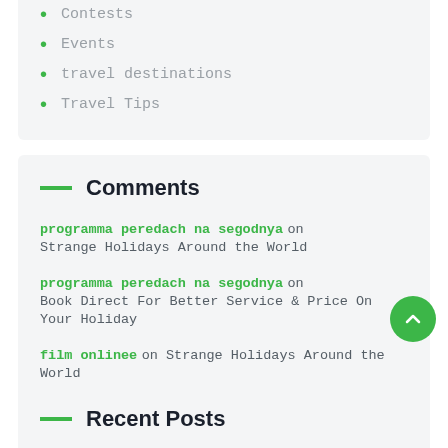Contests
Events
travel destinations
Travel Tips
Comments
programma peredach na segodnya on Strange Holidays Around the World
programma peredach na segodnya on Book Direct For Better Service & Price On Your Holiday
film onlinee on Strange Holidays Around the World
Recent Posts